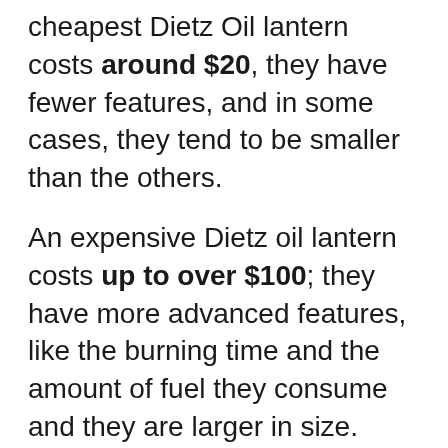cheapest Dietz Oil lantern costs around $20, they have fewer features, and in some cases, they tend to be smaller than the others.
An expensive Dietz oil lantern costs up to over $100; they have more advanced features, like the burning time and the amount of fuel they consume and they are larger in size.
Conclusion
The Dietz oil lanterns were a great invention; their multiple uses makes